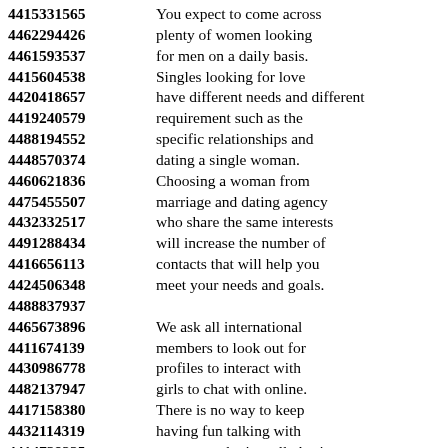4415331565 You expect to come across 4462294426 plenty of women looking 4461593537 for men on a daily basis. 4415604538 Singles looking for love 4420418657 have different needs and different 4419240579 requirement such as the 4488194552 specific relationships and 4448570374 dating a single woman. 4460621836 Choosing a woman from 4475455507 marriage and dating agency 4432332517 who share the same interests 4491288434 will increase the number of 4416656113 contacts that will help you 4424506348 meet your needs and goals. 4488837937 4465673896 We ask all international 4411674139 members to look out for 4430986778 profiles to interact with 4482137947 girls to chat with online. 4417158380 There is no way to keep 4432114319 having fun talking with 4414739235 someone who is really boring 4443672948 when there are so many 4467552353 beautiful women seeking men 4422370552 provided on the web site.